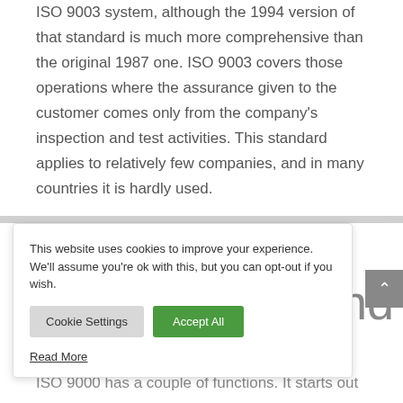ISO 9003 system, although the 1994 version of that standard is much more comprehensive than the original 1987 one. ISO 9003 covers those operations where the assurance given to the customer comes only from the company's inspection and test activities. This standard applies to relatively few companies, and in many countries it is hardly used.
This website uses cookies to improve your experience. We'll assume you're ok with this, but you can opt-out if you wish.
Cookie Settings
Accept All
Read More
and
ISO 9000 has a couple of functions. It starts out